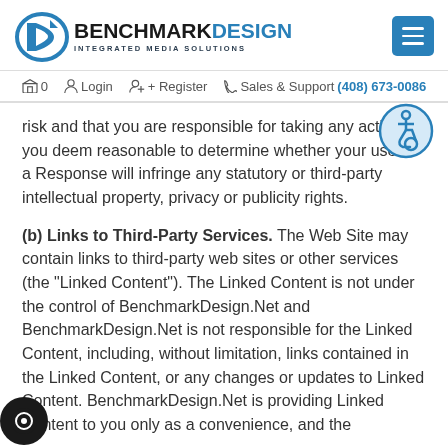[Figure (logo): Benchmark Design Integrated Media Solutions logo with circular arrow icon]
0  Login  + Register  Sales & Support (408) 673-0086
risk and that you are responsible for taking any actions you deem reasonable to determine whether your use of a Response will infringe any statutory or third-party intellectual property, privacy or publicity rights.
(b) Links to Third-Party Services. The Web Site may contain links to third-party web sites or other services (the "Linked Content"). The Linked Content is not under the control of BenchmarkDesign.Net and BenchmarkDesign.Net is not responsible for the Linked Content, including, without limitation, links contained in the Linked Content, or any changes or updates to Linked Content. BenchmarkDesign.Net is providing Linked Content to you only as a convenience, and the